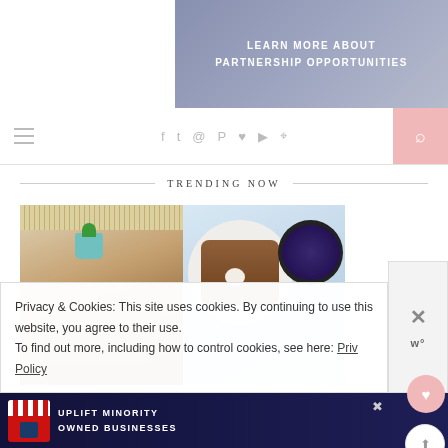[Figure (screenshot): Purple-blue gradient banner with text LEARN MORE ABOUT PARTNERSHIP OPPORTUNITIES in white bold uppercase letters]
[Figure (screenshot): Navigation bar with hamburger menu icon on left, social media icons (Facebook, Twitter, Instagram, Pinterest, Heart/Bloglovin, YouTube, RSS) in center, and pink search button on right]
TRENDING NOW
[Figure (photo): Photo of a plant in a teal pot on a wooden tree stump table with macrame/fringe backdrop]
[Figure (photo): Photo of blueberry crumble dessert on a plate with whipped cream, next to a bowl of fresh blueberries, on blue fabric background]
Privacy & Cookies: This site uses cookies. By continuing to use this website, you agree to their use.
To find out more, including how to control cookies, see here: Privacy Policy
[Figure (screenshot): Advertisement banner: UPLIFT MINORITY OWNED BUSINESSES with shop storefront graphic on dark blue background]